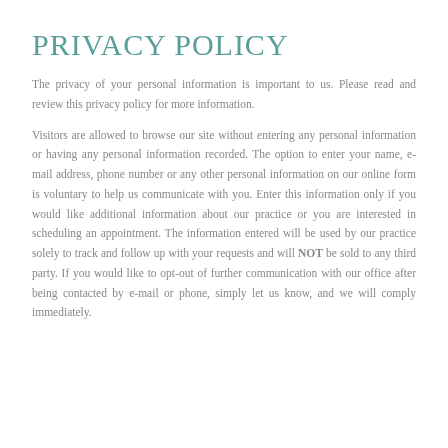PRIVACY POLICY
The privacy of your personal information is important to us. Please read and review this privacy policy for more information.
Visitors are allowed to browse our site without entering any personal information or having any personal information recorded. The option to enter your name, e-mail address, phone number or any other personal information on our online form is voluntary to help us communicate with you. Enter this information only if you would like additional information about our practice or you are interested in scheduling an appointment. The information entered will be used by our practice solely to track and follow up with your requests and will NOT be sold to any third party. If you would like to opt-out of further communication with our office after being contacted by e-mail or phone, simply let us know, and we will comply immediately.